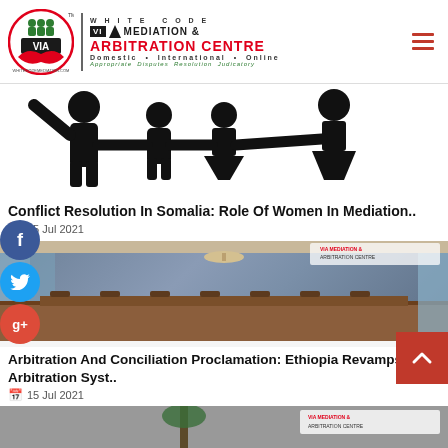WHITE CODE VIA MEDIATION & ARBITRATION CENTRE — Domestic • International • Online — Appropriate Disputes Resolution Judicatory
[Figure (illustration): Silhouette illustration of a family: adult figures holding hands with children between them]
Conflict Resolution In Somalia: Role Of Women In Mediation..
15 Jul 2021
[Figure (photo): Photo of a courtroom interior with wooden paneling, a chandelier, and the VIA Mediation & Arbitration Centre logo watermark]
Arbitration And Conciliation Proclamation: Ethiopia Revamps Its Arbitration Syst..
15 Jul 2021
[Figure (photo): Partial photo at bottom with VIA Mediation & Arbitration Centre logo watermark visible]